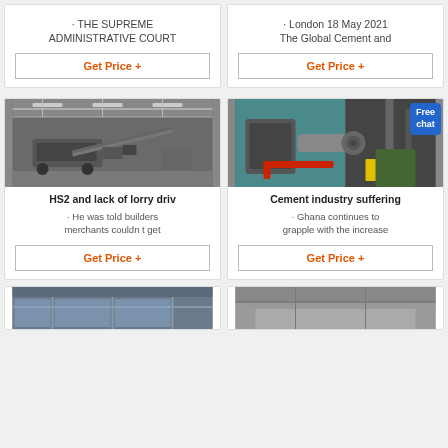· THE SUPREME ADMINISTRATIVE COURT
· London 18 May 2021 The Global Cement and
Get Price +
Get Price +
[Figure (photo): Industrial crusher machine in a large warehouse/factory floor]
[Figure (photo): Industrial machinery with teal housing, red pipes, yellow components in factory setting; Free chat badge overlay]
HS2 and lack of lorry drive
Cement industry suffering
· He was told builders merchants couldn t get
· Ghana continues to grapple with the increase
Get Price +
Get Price +
[Figure (photo): Partial view of a building structure with scaffolding/framework]
[Figure (photo): Industrial grey building exterior]